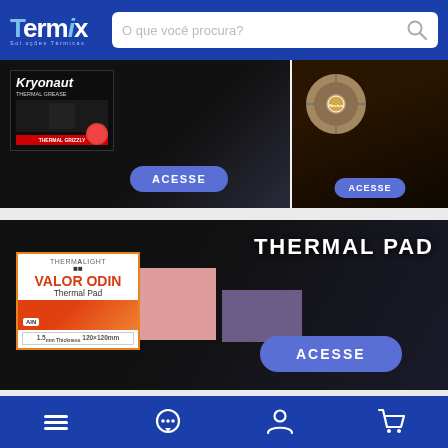[Figure (screenshot): Termix store header with logo and search bar]
[Figure (screenshot): Kryonaut thermal paste product banner with ACESSE button]
[Figure (screenshot): CPU fan/cooler product banner (right side) with ACESSE button]
[Figure (screenshot): Thermal Pad banner featuring Thermalright Valor Odin Thermal Pad with ACESSE button]
[Figure (screenshot): Bottom navigation bar with menu, chat, account, and cart icons]